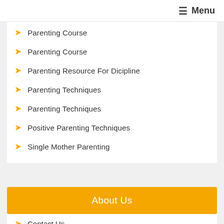Menu
Parenting Course
Parenting Course
Parenting Resource For Dicipline
Parenting Techniques
Parenting Techniques
Positive Parenting Techniques
Single Mother Parenting
About Us
Contact Us